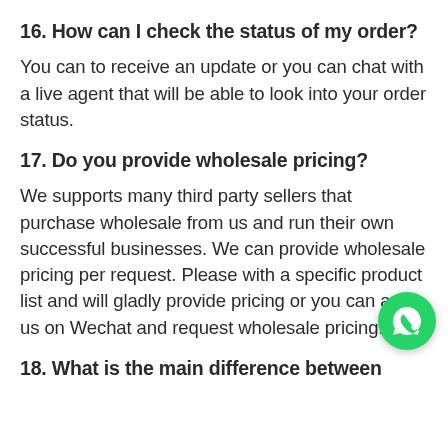16. How can I check the status of my order?
You can to receive an update or you can chat with a live agent that will be able to look into your order status.
17. Do you provide wholesale pricing?
We supports many third party sellers that purchase wholesale from us and run their own successful businesses. We can provide wholesale pricing per request. Please with a specific product list and will gladly provide pricing or you can add us on Wechat and request wholesale pricing.
18. What is the main difference between